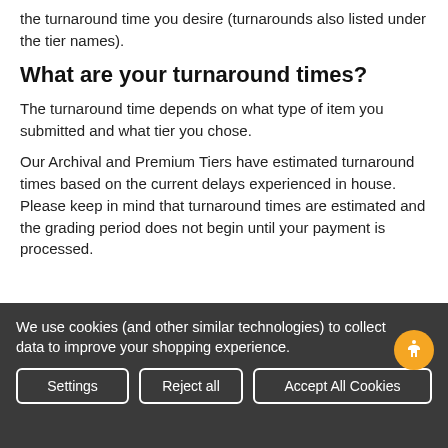the turnaround time you desire (turnarounds also listed under the tier names).
What are your turnaround times?
The turnaround time depends on what type of item you submitted and what tier you chose.
Our Archival and Premium Tiers have estimated turnaround times based on the current delays experienced in house. Please keep in mind that turnaround times are estimated and the grading period does not begin until your payment is processed.
We use cookies (and other similar technologies) to collect data to improve your shopping experience.